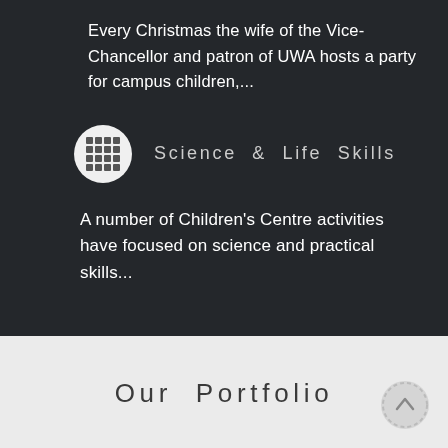Every Christmas the wife of the Vice-Chancellor and patron of UWA hosts a party for campus children,...
Science & Life Skills
A number of Children's Centre activities have focused on science and practical skills...
Our Portfolio